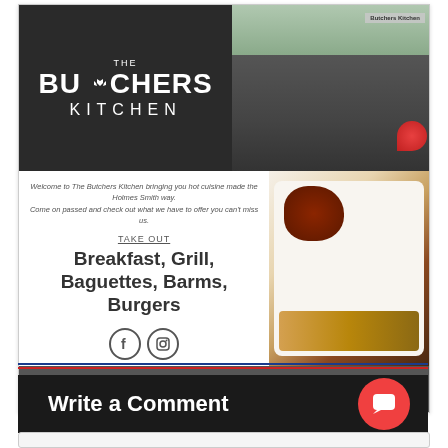[Figure (photo): The Butchers Kitchen advertisement. Top section shows a dark panel with white logo text reading 'THE BUTCHERS KITCHEN' and a storefront photo. Middle section shows welcome text, 'TAKE OUT' heading, food items list (Breakfast, Grill, Baguettes, Barms, Burgers), social media icons (Facebook and Instagram), and a photo of a steak dish. Bottom grey bar shows address: 15 Redgate. Formby. Merseyside. L37 4EN and phone 01704 526016.]
Write a Comment